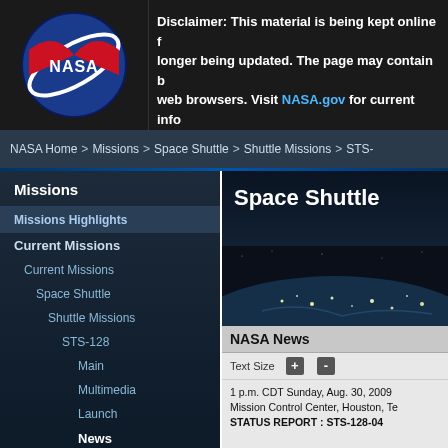[Figure (logo): NASA meatball logo — circular blue sphere with red chevron and white orbital ring]
Disclaimer: This material is being kept online for longer being updated. The page may contain b web browsers. Visit NASA.gov for current info
NASA Home > Missions > Space Shuttle > Shuttle Missions > STS-
Missions
Missions Highlights
Current Missions
Current Missions
Space Shuttle
Shuttle Missions
STS-128
Main
Multimedia
Launch
News
Behind the Scenes
Launch & Landing
Multimedia
[Figure (screenshot): Space Shuttle banner with Earth view from orbit at night, showing city lights]
Space Shuttle
NASA News
Text Size + -
1 p.m. CDT Sunday, Aug. 30, 2009 Mission Control Center, Houston, Te STATUS REPORT : STS-128-04
STS-128 MCC Status Report #04
For the second time in history, thirte